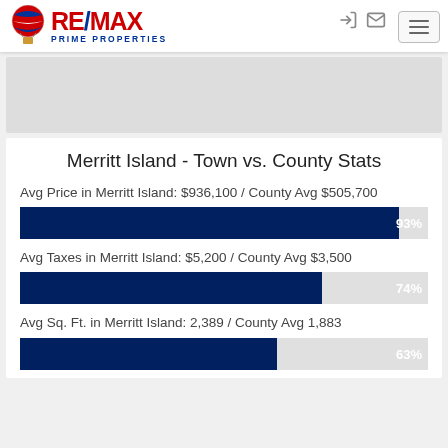[Figure (logo): RE/MAX Prime Properties logo with hot air balloon icon]
Merritt Island - Town vs. County Stats
Avg Price in Merritt Island: $936,100 / County Avg $505,700
[Figure (bar-chart): Avg Price bar]
Avg Taxes in Merritt Island: $5,200 / County Avg $3,500
[Figure (bar-chart): Avg Taxes bar]
Avg Sq. Ft. in Merritt Island: 2,389 / County Avg 1,883
[Figure (bar-chart): Avg Sq Ft bar]